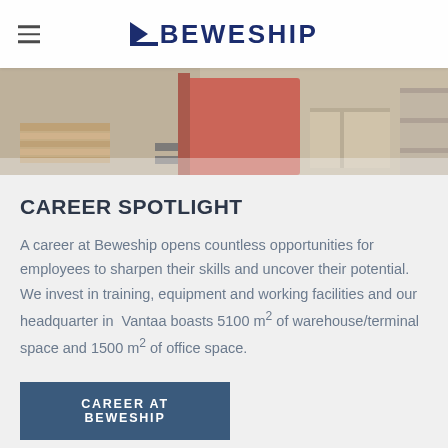BEWESHIP
[Figure (photo): Warehouse interior with a red forklift/pallet mover, wooden pallets, and cardboard boxes on shelving]
CAREER SPOTLIGHT
A career at Beweship opens countless opportunities for employees to sharpen their skills and uncover their potential. We invest in training, equipment and working facilities and our headquarter in Vantaa boasts 5100 m² of warehouse/terminal space and 1500 m² of office space.
CAREER AT BEWESHIP